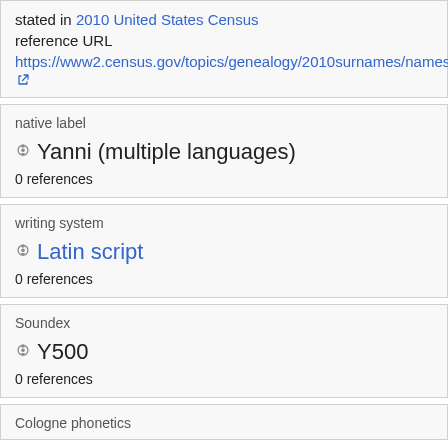stated in 2010 United States Census
reference URL
https://www2.census.gov/topics/genealogy/2010surnames/names.zip
native label
Yanni (multiple languages)
0 references
writing system
Latin script
0 references
Soundex
Y500
0 references
Cologne phonetics